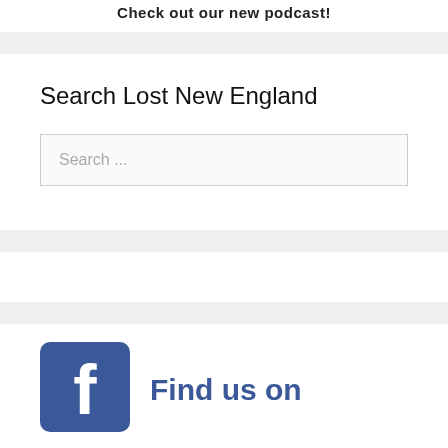Check out our new podcast!
Search Lost New England
Search ...
[Figure (logo): Facebook logo icon - blue square with white 'f' letter]